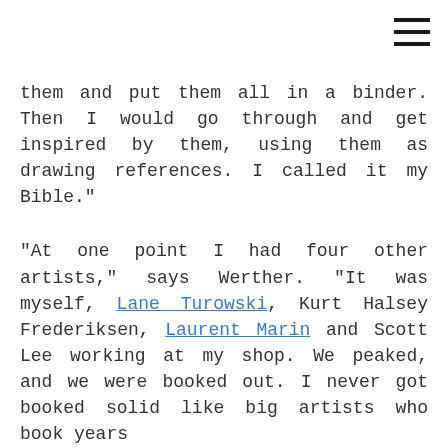[Figure (other): Hamburger menu icon (three horizontal lines) in top-right corner]
them and put them all in a binder. Then I would go through and get inspired by them, using them as drawing references. I called it my Bible."
"At one point I had four other artists," says Werther. "It was myself, Lane Turowski, Kurt Halsey Frederiksen, Laurent Marin and Scott Lee working at my shop. We peaked, and we were booked out. I never got booked solid like big artists who book years